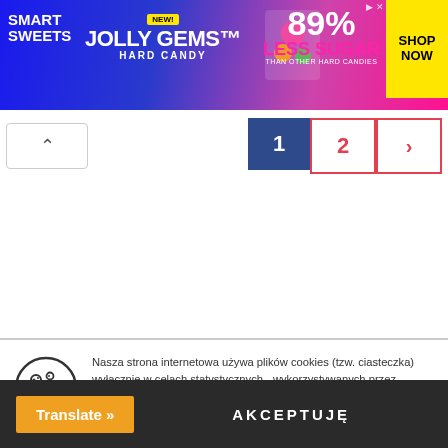[Figure (photo): Smart Sweets Jolly Gems Hard Candy advertisement banner: 89% Less Sugar than other hard candies, Shop Now button]
1 2 >
Nasza strona internetowa używa plików cookies (tzw. ciasteczka) wyłącznie w celach statystycznych - wykorzystywanych przez narzędzie Google Analytics. Akceptacja plików cookies jest dobrowolna, w przypadku braku akceptacji prosimy o wyłączenie zapisywania plików cookies w Państwa przeglądarce. Szczegółowe informacje o przetwarzaniu danych osobowych dostępne są pod tym linkiem: polityka ochrony danych osobowych
Translate »
AKCEPTUJĘ